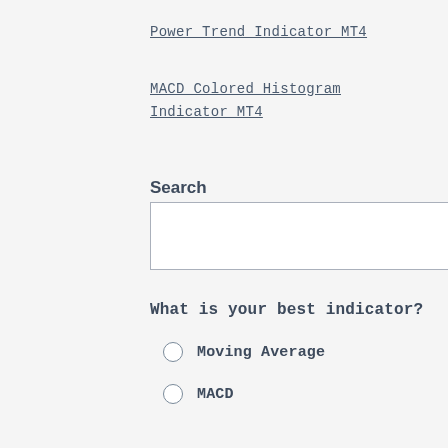Power Trend Indicator MT4
MACD Colored Histogram Indicator MT4
Search
Search (input box and button)
What is your best indicator?
Moving Average
MACD